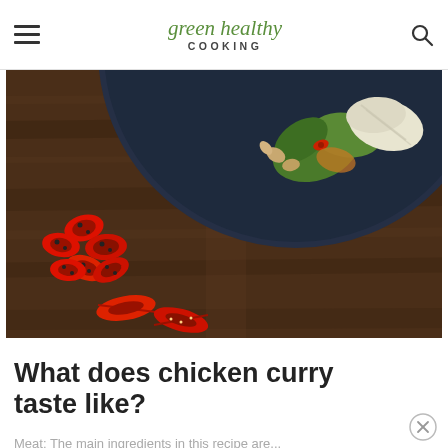green healthy COOKING
[Figure (photo): Overhead view of a dark navy plate with salad, garnishes, and sliced red chili peppers scattered on a rustic wooden table surface.]
What does chicken curry taste like?
Meat: The main ingredients in this recipe are...